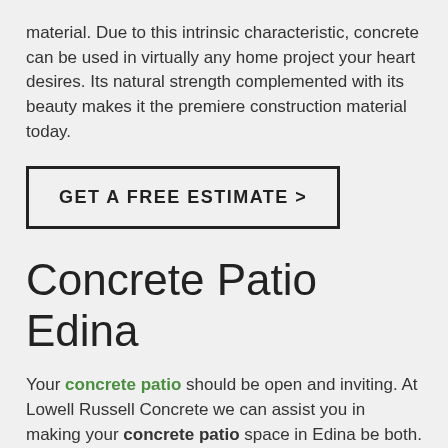material. Due to this intrinsic characteristic, concrete can be used in virtually any home project your heart desires. Its natural strength complemented with its beauty makes it the premiere construction material today.
GET A FREE ESTIMATE >
Concrete Patio Edina
Your concrete patio should be open and inviting. At Lowell Russell Concrete we can assist you in making your concrete patio space in Edina be both. Your ideas and our know-how can create a space great for entertaining guests and also your sanctuary from the stresses of your life. We know that your project is unique, challenging and important; because of